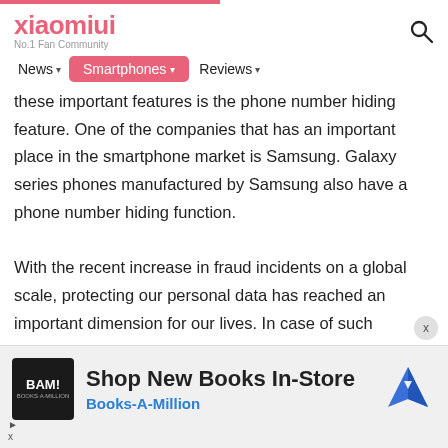xiaomiui — No.1 Fan Community
News ▾  Smartphones ▾  Reviews ▾
these important features is the phone number hiding feature. One of the companies that has an important place in the smartphone market is Samsung. Galaxy series phones manufactured by Samsung also have a phone number hiding function.

With the recent increase in fraud incidents on a global scale, protecting our personal data has reached an important dimension for our lives. In case of such
[Figure (infographic): Advertisement banner for Books-A-Million showing BAM! logo on dark background, text 'Shop New Books In-Store' and 'Books-A-Million' in blue, with a blue navigation/map icon on the right, and a close X button.]